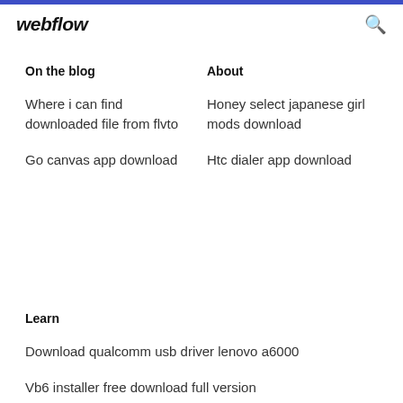webflow
On the blog
About
Where i can find downloaded file from flvto
Honey select japanese girl mods download
Htc dialer app download
Go canvas app download
Learn
Download qualcomm usb driver lenovo a6000
Vb6 installer free download full version